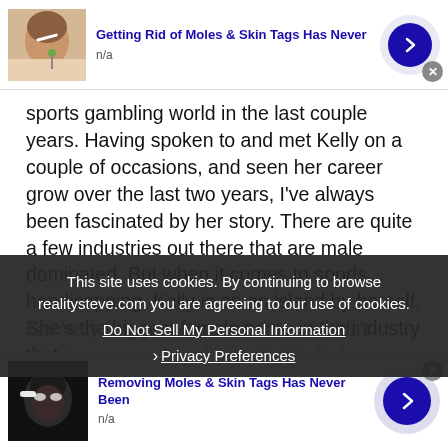[Figure (other): Top ad banner: thumbnail of person applying something to face, title 'Getting Rid of Moles & Skin Tags Has Never', sub 'n/a', blue arrow button]
sports gambling world in the last couple years. Having spoken to and met Kelly on a couple of occasions, and seen her career grow over the last two years, I've always been fascinated by her story. There are quite a few industries out there that are male dominated. But when it comes to sports handicapping, Kelly is on an island by herself. She's the biggest female name in the industry that has very few women at all. You wouldn't count on one... for a living. Yet Kelly has carved out quite a niche for herself and has a great story. As always, if you'd like to respond to the interview, please include Kelly's Twitter handle (@kellyinvegas)... Your replies, enjoy
This site uses cookies. By continuing to browse realitysteve.com you are agreeing to our use of cookies.
Do Not Sell My Personal Information
Privacy Preferences
[Figure (other): Bottom ad banner: thumbnail of woman with eye makeup, title 'Removing Moles & Skin Tags Has Never Been', sub 'n/a', blue arrow button]